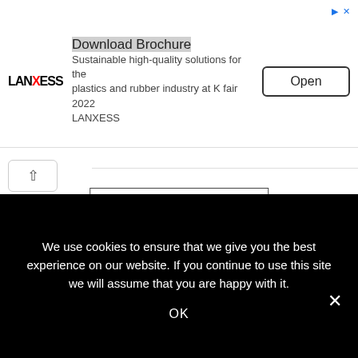[Figure (screenshot): LANXESS advertisement banner: 'Download Brochure' title, subtitle 'Sustainable high-quality solutions for the plastics and rubber industry at K fair 2022 LANXESS', Open button, and top-right icons]
URBAN PLANNING
[Figure (infographic): Social share icons row: Facebook (f), Twitter (bird/t), LinkedIn (in), Pinterest (P) — each in a rounded circle border]
[Figure (photo): Circular black-and-white profile photo of a woman with dark hair, outdoor background with foliage]
We use cookies to ensure that we give you the best experience on our website. If you continue to use this site we will assume that you are happy with it.
OK